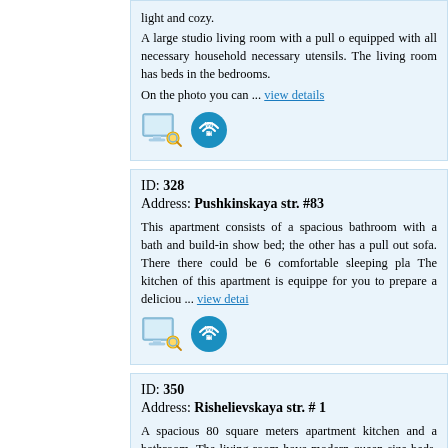light and cozy. A large studio living room with a pull out equipped with all necessary household necessary utensils. The living room has beds in the bedrooms. On the photo you can ... view details
ID: 328
Address: Pushkinskaya str. #83
This apartment consists of a spacious bathroom with a bath and build-in show bed; the other has a pull out sofa. There there could be 6 comfortable sleeping pla The kitchen of this apartment is equippe for you to prepare a deliciou ... view details
ID: 350
Address: Rishelievskaya str. # 1
A spacious 80 square meters apartment kitchen and a bathroom. The living room have modern queen size beds. The ki household appliances. The bathroom has toilet. ... view details